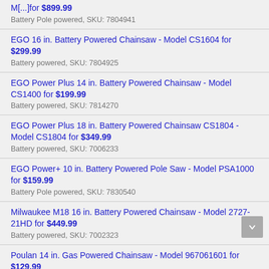M[...] for $899.99
Battery Pole powered, SKU: 7804941
EGO 16 in. Battery Powered Chainsaw - Model CS1604 for $299.99
Battery powered, SKU: 7804925
EGO Power Plus 14 in. Battery Powered Chainsaw - Model CS1400 for $199.99
Battery powered, SKU: 7814270
EGO Power Plus 18 in. Battery Powered Chainsaw CS1804 - Model CS1804 for $349.99
Battery powered, SKU: 7006233
EGO Power+ 10 in. Battery Powered Pole Saw - Model PSA1000 for $159.99
Battery Pole powered, SKU: 7830540
Milwaukee M18 16 in. Battery Powered Chainsaw - Model 2727-21HD for $449.99
Battery powered, SKU: 7002323
Poulan 14 in. Gas Powered Chainsaw - Model 967061601 for $129.99
Gas powered, SKU: 74619